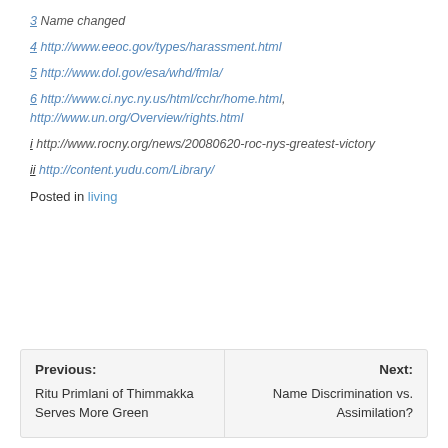3 Name changed
4 http://www.eeoc.gov/types/harassment.html
5 http://www.dol.gov/esa/whd/fmla/
6 http://www.ci.nyc.ny.us/html/cchr/home.html, http://www.un.org/Overview/rights.html
i http://www.rocny.org/news/20080620-roc-nys-greatest-victory
ii http://content.yudu.com/Library/
Posted in living
| Previous: | Next: |
| --- | --- |
| Ritu Primlani of Thimmakka Serves More Green | Name Discrimination vs. Assimilation? |